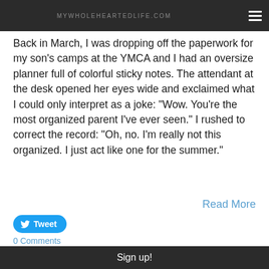MYWHOLEHEARTEDLIFE.COM
Back in March, I was dropping off the paperwork for my son's camps at the YMCA and I had an oversize planner full of colorful sticky notes. The attendant at the desk opened her eyes wide and exclaimed what I could only interpret as a joke: "Wow. You're the most organized parent I've ever seen." I rushed to correct the record: "Oh, no. I'm really not this organized. I just act like one for the summer."
Read More
[Figure (other): Tweet button with Twitter bird icon]
0 Comments
Sign up!